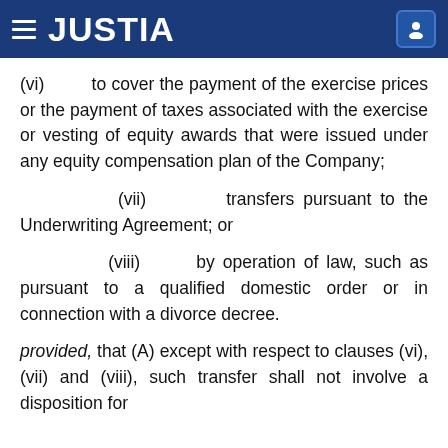JUSTIA
(vi) to cover the payment of the exercise prices or the payment of taxes associated with the exercise or vesting of equity awards that were issued under any equity compensation plan of the Company;
(vii) transfers pursuant to the Underwriting Agreement; or
(viii) by operation of law, such as pursuant to a qualified domestic order or in connection with a divorce decree.
provided, that (A) except with respect to clauses (vi), (vii) and (viii), such transfer shall not involve a disposition for